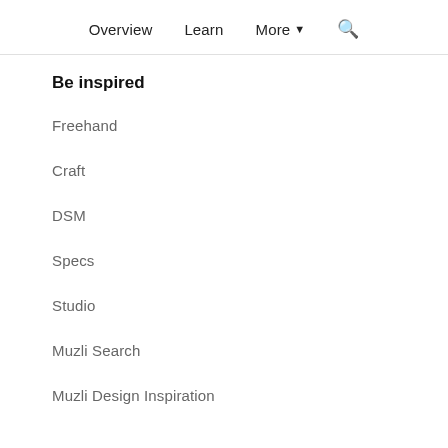Overview   Learn   More ▾   🔍
Be inspired
Freehand
Craft
DSM
Specs
Studio
Muzli Search
Muzli Design Inspiration